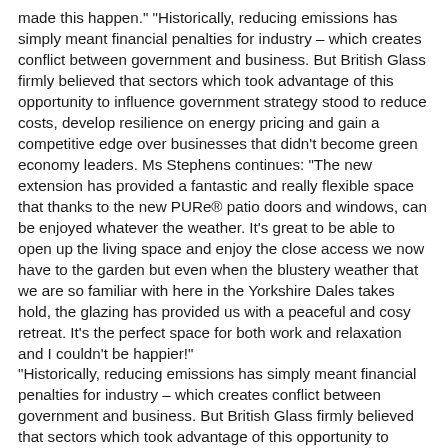made this happen." "Historically, reducing emissions has simply meant financial penalties for industry – which creates conflict between government and business. But British Glass firmly believed that sectors which took advantage of this opportunity to influence government strategy stood to reduce costs, develop resilience on energy pricing and gain a competitive edge over businesses that didn't become green economy leaders. Ms Stephens continues: "The new extension has provided a fantastic and really flexible space that thanks to the new PURe® patio doors and windows, can be enjoyed whatever the weather. It's great to be able to open up the living space and enjoy the close access we now have to the garden but even when the blustery weather that we are so familiar with here in the Yorkshire Dales takes hold, the glazing has provided us with a peaceful and cosy retreat. It's the perfect space for both work and relaxation and I couldn't be happier!" "Historically, reducing emissions has simply meant financial penalties for industry – which creates conflict between government and business. But British Glass firmly believed that sectors which took advantage of this opportunity to influence government strategy stood to reduce costs, develop resilience on energy pricing and gain a competitive edge over businesses that didn't